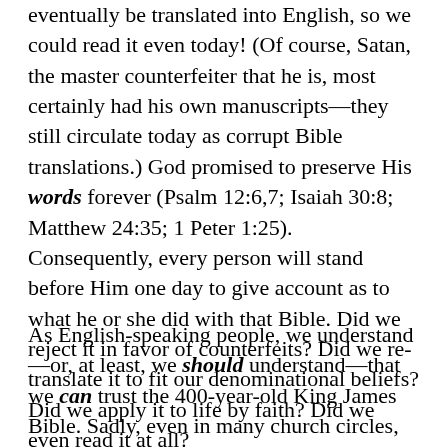eventually be translated into English, so we could read it even today! (Of course, Satan, the master counterfeiter that he is, most certainly had his own manuscripts—they still circulate today as corrupt Bible translations.) God promised to preserve His words forever (Psalm 12:6,7; Isaiah 30:8; Matthew 24:35; 1 Peter 1:25). Consequently, every person will stand before Him one day to give account as to what he or she did with that Bible. Did we reject it in favor of counterfeits? Did we re-translate it to fit our denominational beliefs? Did we apply it to life by faith? Did we even read it at all?
As English-speaking people, we understand—or, at least, we should understand—that we can trust the 400-year-old King James Bible. Sadly, even in many church circles, we are often cautioned not to trust God's preserved Word. Unfortunately,